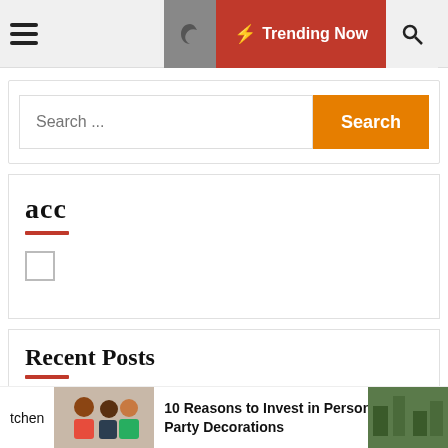Trending Now
Search ...
acc
Recent Posts
Wall Street Journal Buy Side | The Talented Kitchen
10 Reasons to Invest in Personalised Party Decorations